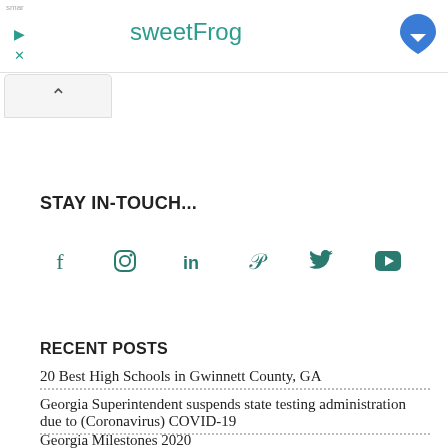[Figure (screenshot): Advertisement banner for sweetFrog with teal play and close icons, teal title text, and a blue map pin icon on the right]
[Figure (screenshot): Collapse/chevron up button below the ad banner]
STAY IN-TOUCH...
[Figure (infographic): Row of 6 social media icons in teal: Facebook, Instagram, LinkedIn, Pinterest, Twitter, YouTube]
RECENT POSTS
20 Best High Schools in Gwinnett County, GA
Georgia Superintendent suspends state testing administration due to (Coronavirus) COVID-19
Georgia Milestones 2020